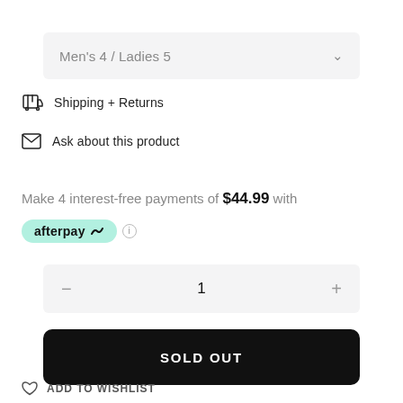Men's 4 / Ladies 5
Shipping + Returns
Ask about this product
Make 4 interest-free payments of $44.99 with afterpay ℹ
1
SOLD OUT
ADD TO WISHLIST